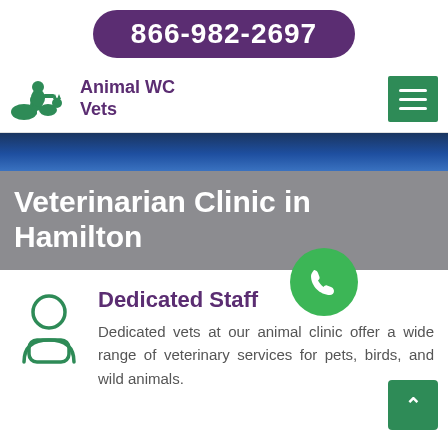866-982-2697
Animal WC Vets
[Figure (logo): Green silhouette logo of a person with a cat and dog]
[Figure (photo): Dark blue banner hero image background]
Veterinarian Clinic in Hamilton
Dedicated Staff
Dedicated vets at our animal clinic offer a wide range of veterinary services for pets, birds, and wild animals.